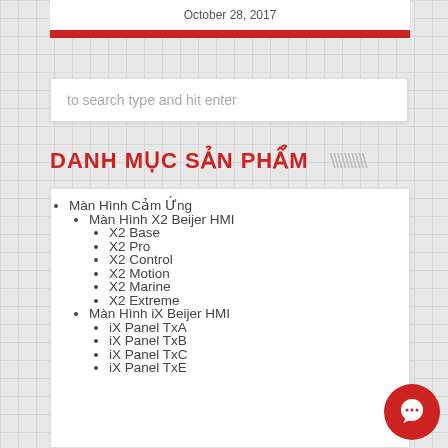October 28, 2017
to search type and hit enter
DANH MỤC SẢN PHẨM
Màn Hình Cảm Ứng
Màn Hình X2 Beijer HMI
X2 Base
X2 Pro
X2 Control
X2 Motion
X2 Marine
X2 Extreme
Màn Hình iX Beijer HMI
iX Panel TxA
iX Panel TxB
iX Panel TxC
iX Panel TxE